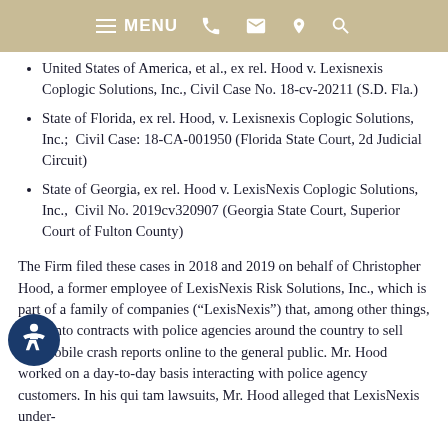MENU
United States of America, et al., ex rel. Hood v. Lexisnexis Coplogic Solutions, Inc., Civil Case No. 18-cv-20211 (S.D. Fla.)
State of Florida, ex rel. Hood, v. Lexisnexis Coplogic Solutions, Inc.;  Civil Case: 18-CA-001950 (Florida State Court, 2d Judicial Circuit)
State of Georgia, ex rel. Hood v. LexisNexis Coplogic Solutions, Inc.,  Civil No. 2019cv320907 (Georgia State Court, Superior Court of Fulton County)
The Firm filed these cases in 2018 and 2019 on behalf of Christopher Hood, a former employee of LexisNexis Risk Solutions, Inc., which is part of a family of companies (“LexisNexis”) that, among other things, enter into contracts with police agencies around the country to sell automobile crash reports online to the general public. Mr. Hood worked on a day-to-day basis interacting with police agency customers. In his qui tam lawsuits, Mr. Hood alleged that LexisNexis under-paid royalties to law enforcement for access to crash reports.